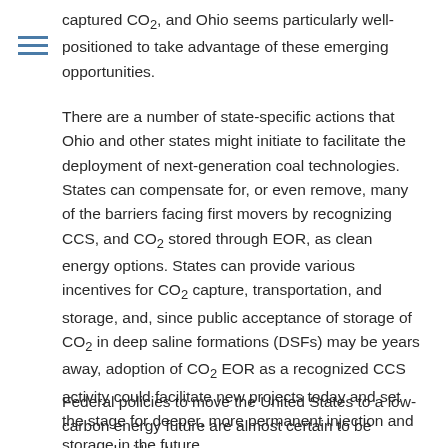captured CO₂, and Ohio seems particularly well-positioned to take advantage of these emerging opportunities.
There are a number of state-specific actions that Ohio and other states might initiate to facilitate the deployment of next-generation coal technologies. States can compensate for, or even remove, many of the barriers facing first movers by recognizing CCS, and CO₂ stored through EOR, as clean energy options. States can provide various incentives for CO₂ capture, transportation, and storage, and, since public acceptance of storage of CO₂ in deep saline formations (DSFs) may be years away, adoption of CO₂ EOR as a recognized CCS activity could facilitate new projects today and set the stage for deeper, more permanent injection and storage in the future.
Federal policies to move the United States to a low-carbon energy future are almost certain to be enacted within the